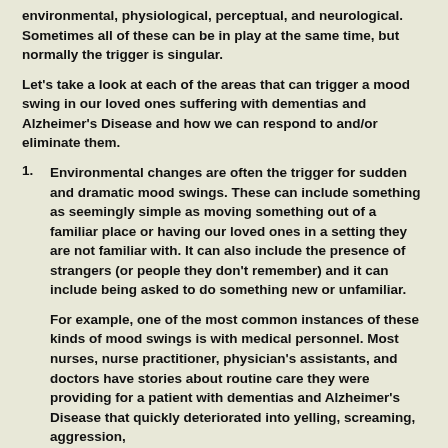environmental, physiological, perceptual, and neurological. Sometimes all of these can be in play at the same time, but normally the trigger is singular.
Let's take a look at each of the areas that can trigger a mood swing in our loved ones suffering with dementias and Alzheimer's Disease and how we can respond to and/or eliminate them.
Environmental changes are often the trigger for sudden and dramatic mood swings. These can include something as seemingly simple as moving something out of a familiar place or having our loved ones in a setting they are not familiar with. It can also include the presence of strangers (or people they don't remember) and it can include being asked to do something new or unfamiliar.
For example, one of the most common instances of these kinds of mood swings is with medical personnel. Most nurses, nurse practitioner, physician's assistants, and doctors have stories about routine care they were providing for a patient with dementias and Alzheimer's Disease that quickly deteriorated into yelling, screaming, aggression,